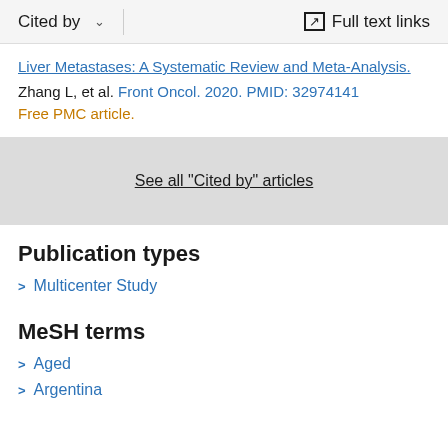Cited by  ∨    Full text links
Liver Metastases: A Systematic Review and Meta-Analysis.
Zhang L, et al. Front Oncol. 2020. PMID: 32974141
Free PMC article.
See all "Cited by" articles
Publication types
Multicenter Study
MeSH terms
Aged
Argentina